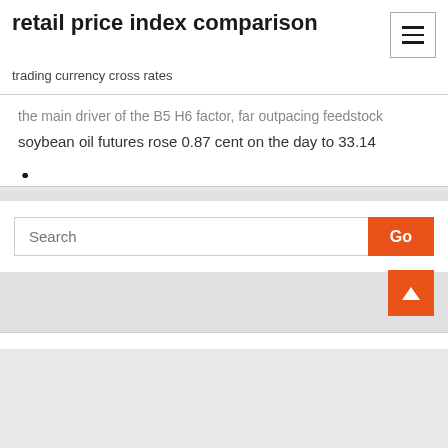retail price index comparison
trading currency cross rates
the main driver of the B5 H6 factor, far outpacing feedstock
soybean oil futures rose 0.87 cent on the day to 33.14